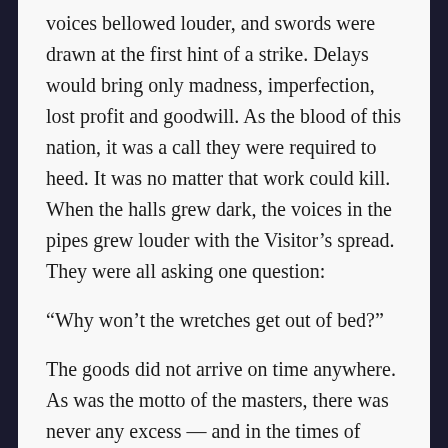voices bellowed louder, and swords were drawn at the first hint of a strike. Delays would bring only madness, imperfection, lost profit and goodwill. As the blood of this nation, it was a call they were required to heed. It was no matter that work could kill. When the halls grew dark, the voices in the pipes grew louder with the Visitor’s spread. They were all asking one question:
“Why won’t the wretches get out of bed?”
The goods did not arrive on time anywhere. As was the motto of the masters, there was never any excess — and in the times of famine, there remained nothing to spare. The few crates that did leave, the Visitor in Light rode inside.
By the time he had left, he finally had a name — an